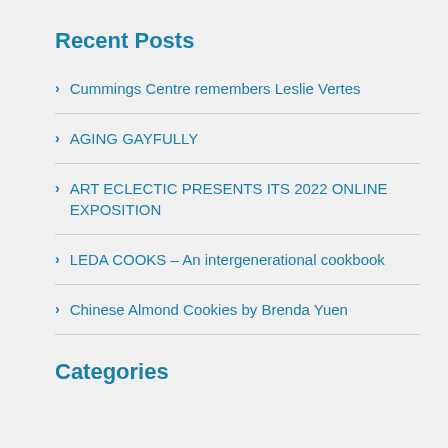Recent Posts
Cummings Centre remembers Leslie Vertes
AGING GAYFULLY
ART ECLECTIC PRESENTS ITS 2022 ONLINE EXPOSITION
LEDA COOKS – An intergenerational cookbook
Chinese Almond Cookies by Brenda Yuen
Categories